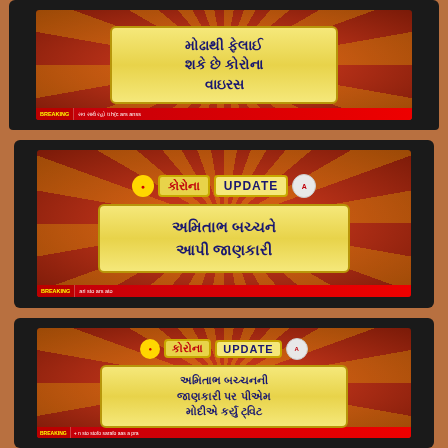[Figure (photo): Four photos of a TV screen showing Gujarati-language news (ABP Asmita / ABP News) with 'KORONA UPDATE' banners. Panel 1 (top, partial): Gujarati text about coronavirus spreading through the air. Panel 2: Amitabh Bachchan gave information. Panel 3: On Amitabh Bachchan's information, PM Modi tweeted. Panel 4 (bottom, partial): The Lancet study-based information.]